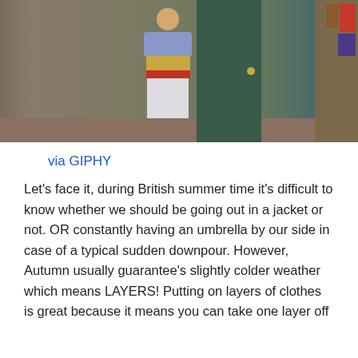[Figure (screenshot): Screenshot from a TV show (appears to be Friends) showing a person wearing multiple layers of clothing including a purple/blue jacket, floral shirt, yellow top, red stripe, and white pants, standing in a doorway with a bookshelf on the right side.]
via GIPHY
Let's face it, during British summer time it's difficult to know whether we should be going out in a jacket or not. OR constantly having an umbrella by our side in case of a typical sudden downpour. However, Autumn usually guarantee's slightly colder weather which means LAYERS! Putting on layers of clothes is great because it means you can take one layer off